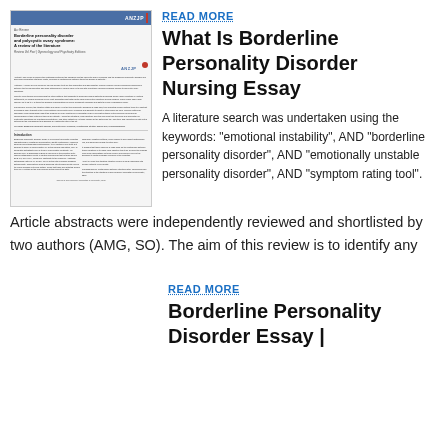[Figure (screenshot): Thumbnail image of academic journal article 'Borderline personality disorder and polycystic ovary syndrome: A review of the literature' from ANZJP journal]
READ MORE
What Is Borderline Personality Disorder Nursing Essay
A literature search was undertaken using the keywords: “emotional instability”, AND “borderline personality disorder”, AND “emotionally unstable personality disorder”, AND “symptom rating tool”. Article abstracts were independently reviewed and shortlisted by two authors (AMG, SO). The aim of this review is to identify any
READ MORE
Borderline Personality Disorder Essay |